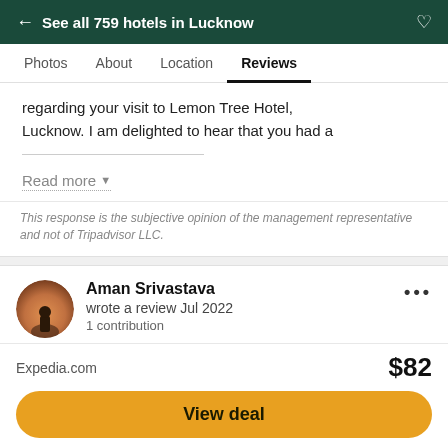← See all 759 hotels in Lucknow
Photos  About  Location  Reviews
regarding your visit to Lemon Tree Hotel, Lucknow. I am delighted to hear that you had a
Read more
This response is the subjective opinion of the management representative and not of Tripadvisor LLC.
Aman Srivastava
wrote a review Jul 2022
1 contribution
[Figure (infographic): Five filled green circles representing a 5-bubble rating on Tripadvisor]
Reception function
Expedia.com  $82
View deal